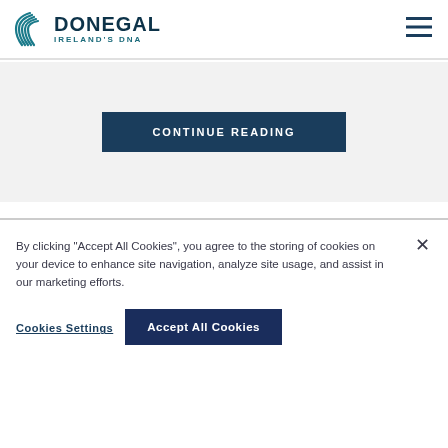DONEGAL — IRELAND'S DNA
CONTINUE READING
[Figure (photo): Muted olive/tan textured background image, partially obscured by cookie consent banner]
By clicking “Accept All Cookies”, you agree to the storing of cookies on your device to enhance site navigation, analyze site usage, and assist in our marketing efforts.
Cookies Settings
Accept All Cookies